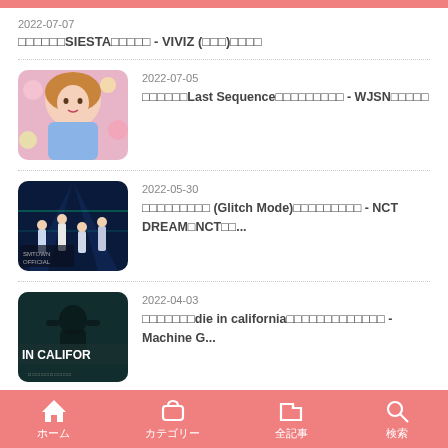2022-07-07
□□□□□□SIESTA□□□□□ - VIVIZ (□□□)□□□□
2022-07-05
□□□□□□Last Sequence□□□□□□□□□ - WJSN□□□□□
2022-05-30
□□□□□□□□□ (Glitch Mode)□□□□□□□□□ - NCT DREAM□NCT□□...
2022-04-03
□□□□□□□die in california□□□□□□□□□□□□□ - Machine G...
ホーム　カテゴリー　全記事　検索